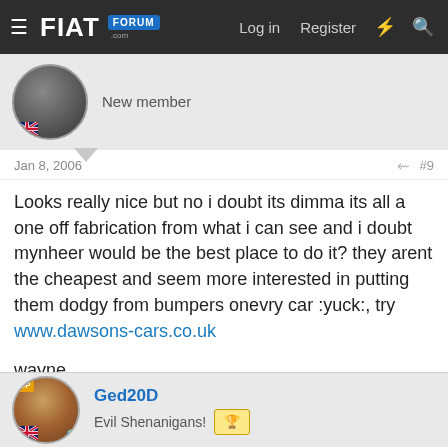FIAT FORUM — Log in  Register
New member
Jan 8, 2006  #9
Looks really nice but no i doubt its dimma its all a one off fabrication from what i can see and i doubt mynheer would be the best place to do it? they arent the cheapest and seem more interested in putting them dodgy from bumpers onevry car :yuck:, try www.dawsons-cars.co.uk

wayne
Ged20D
Evil Shenanigans!
Jan 8, 2006  #10
Heres another angle